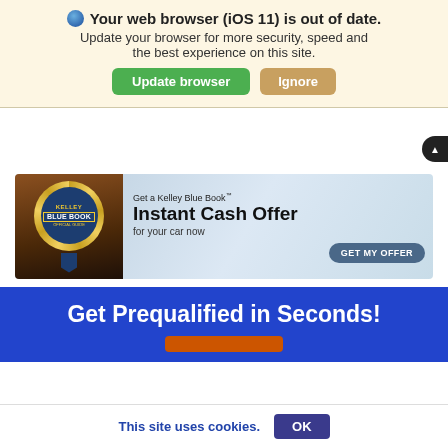Your web browser (iOS 11) is out of date. Update your browser for more security, speed and the best experience on this site.
[Figure (screenshot): Browser update notification banner with Update browser (green) and Ignore (tan) buttons]
[Figure (infographic): Kelley Blue Book advertisement: Get a Kelley Blue Book Instant Cash Offer for your car now, with GET MY OFFER button]
Get Prequalified in Seconds!
This site uses cookies.